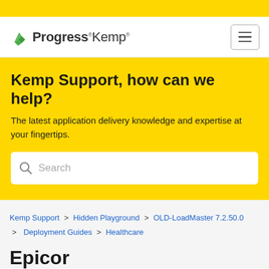[Figure (logo): Progress Kemp logo with green leaf icon and wordmark]
Kemp Support, how can we help?
The latest application delivery knowledge and expertise at your fingertips.
Search (search box)
Kemp Support > Hidden Playground > OLD-LoadMaster 7.2.50.0 > Deployment Guides > Healthcare
Epicor